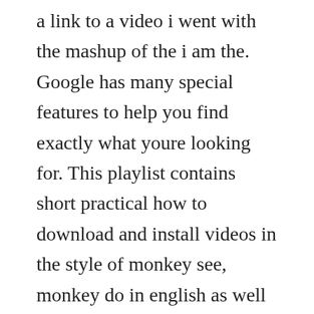a link to a video i went with the mashup of the i am the. Google has many special features to help you find exactly what youre looking for. This playlist contains short practical how to download and install videos in the style of monkey see, monkey do in english as well as in dutch. Download odyssey mp3 songs and albums music downloads.
Licensed to youtube by adrev for rights holder on behalf of deep elm records deep elm records. The site rolled out the update earlier than planned after it was criticized for